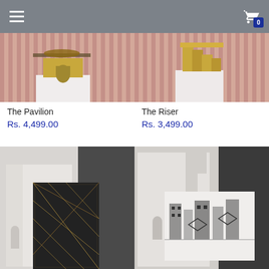Navigation header with hamburger menu and cart icon showing 0 items
[Figure (photo): Product photo of The Pavilion - a architectural sculpture with gold arched base and glass top on white pedestal, pink curtain background]
[Figure (photo): Product photo of The Riser - a golden staircase architectural sculpture on white pedestal, pink curtain background]
The Pavilion
Rs. 4,499.00
The Riser
Rs. 3,499.00
[Figure (photo): Product photo showing white architectural staircase sculptures with black geometric patterned book/panel in foreground]
[Figure (photo): Product photo showing white architectural staircase sculpture with black and white geometric cityscape art panel]